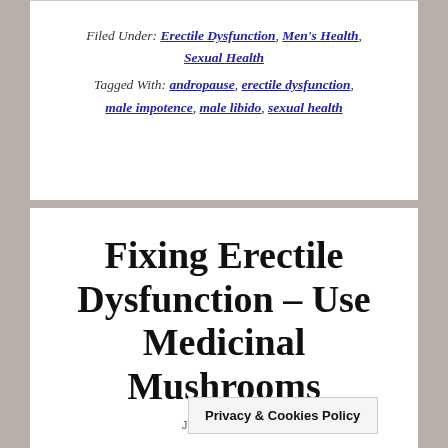Filed Under: Erectile Dysfunction, Men's Health, Sexual Health
Tagged With: andropause, erectile dysfunction, male impotence, male libido, sexual health
Fixing Erectile Dysfunction – Use Medicinal Mushrooms
JUNE 15, 2...
Privacy & Cookies Policy